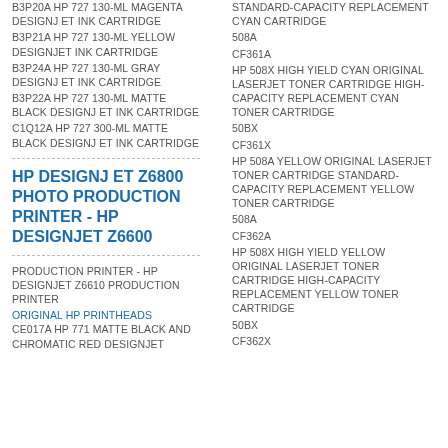B3P20A HP 727 130-ML MAGENTA DESIGNJET INK CARTRIDGE
B3P21A HP 727 130-ML YELLOW DESIGNJET INK CARTRIDGE
B3P24A HP 727 130-ML GRAY DESIGNJET INK CARTRIDGE
B3P22A HP 727 130-ML MATTE BLACK DESIGNJET INK CARTRIDGE
C1Q12A HP 727 300-ML MATTE BLACK DESIGNJET INK CARTRIDGE
HP DESIGNJET Z6800 PHOTO PRODUCTION PRINTER - HP DESIGNJET Z6600
PRODUCTION PRINTER - HP DESIGNJET Z6610 PRODUCTION PRINTER
ORIGINAL HP PRINTHEADS
CE017A HP 771 MATTE BLACK AND CHROMATIC RED DESIGNJET
STANDARD-CAPACITY REPLACEMENT CYAN CARTRIDGE
508A
CF361A
HP 508X HIGH YIELD CYAN ORIGINAL LASERJET TONER CARTRIDGE HIGH-CAPACITY REPLACEMENT CYAN TONER CARTRIDGE
50BX
CF361X
HP 508A YELLOW ORIGINAL LASERJET TONER CARTRIDGE STANDARD-CAPACITY REPLACEMENT YELLOW TONER CARTRIDGE
508A
CF362A
HP 508X HIGH YIELD YELLOW ORIGINAL LASERJET TONER CARTRIDGE HIGH-CAPACITY REPLACEMENT YELLOW TONER CARTRIDGE
50BX
CF362X